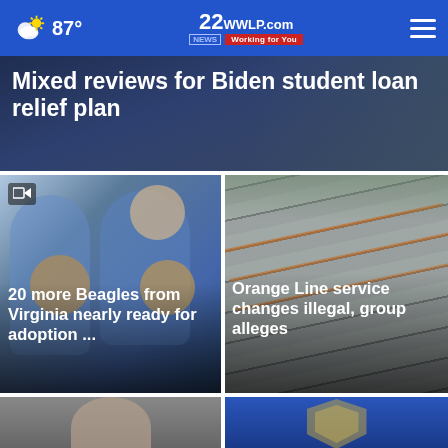87° — 22WWLP.com Working for You
Mixed reviews for Biden student loan relief plan
[Figure (photo): Two people holding beagle puppies]
20 more Beagles from Virginia nearly ready for adoption ...
[Figure (photo): Aerial view of train railcars in a yard]
Orange Line service changes illegal, group alleges
[Figure (photo): Person's face, partially visible at bottom]
[Figure (photo): Police or organization shield badge logo]